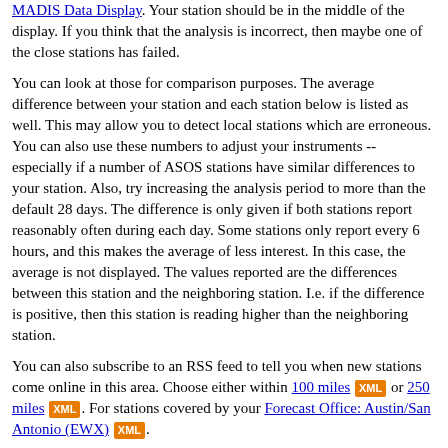MADIS Data Display. Your station should be in the middle of the display. If you think that the analysis is incorrect, then maybe one of the close stations has failed.
You can look at those for comparison purposes. The average difference between your station and each station below is listed as well. This may allow you to detect local stations which are erroneous. You can also use these numbers to adjust your instruments -- especially if a number of ASOS stations have similar differences to your station. Also, try increasing the analysis period to more than the default 28 days. The difference is only given if both stations report reasonably often during each day. Some stations only report every 6 hours, and this makes the average of less interest. In this case, the average is not displayed. The values reported are the differences between this station and the neighboring station. I.e. if the difference is positive, then this station is reading higher than the neighboring station.
You can also subscribe to an RSS feed to tell you when new stations come online in this area. Choose either within 100 miles [XML] or 250 miles [XML]. For stations covered by your Forecast Office: Austin/San Antonio (EWX) [XML].
| Site | Distance | Location | Barometer T |
| --- | --- | --- | --- |
| EW9186 | 5.2 miles Northwest | San Antonio, TX, US (lat 29.53120 |  |